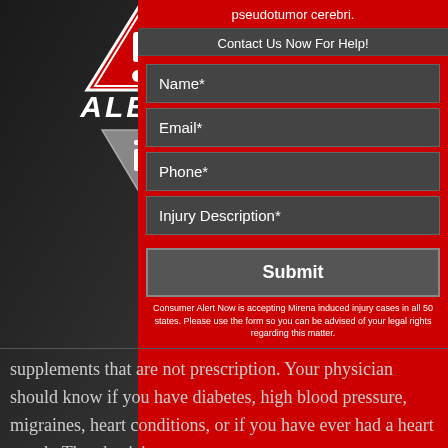[Figure (infographic): Warning triangle alert icon with exclamation mark, red and white, above the word ALERT in white bold italic text, with a downward-pointing grey information triangle below]
pseudotumor cerebri.
Contact Us Now For Help!
Name*
Email*
Phone*
Injury Description*
Submit
Consumer Alert Now is accepting Mirena induced injury cases in all 50 states. Please use the form so you can be advised of your legal rights regarding this matter.
supplements that are not prescription. Your physician should know if you have diabetes, high blood pressure, migraines, heart conditions, or if you have ever had a heart attack. The physician